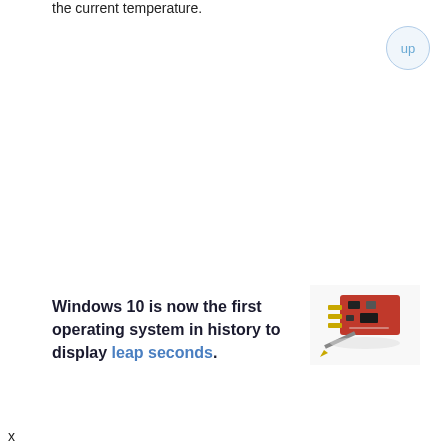the current temperature.
Windows 10 is now the first operating system in history to display leap seconds.
[Figure (photo): A small red electronic circuit board/module being held or placed on a surface, with a connector visible.]
x